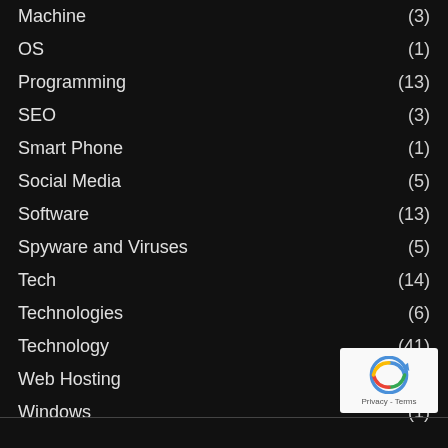Machine (3)
OS (1)
Programming (13)
SEO (3)
Smart Phone (1)
Social Media (5)
Software (13)
Spyware and Viruses (5)
Tech (14)
Technologies (6)
Technology (41)
Web Hosting (7)
Windows (1)
[Figure (logo): reCAPTCHA badge with Privacy and Terms text]